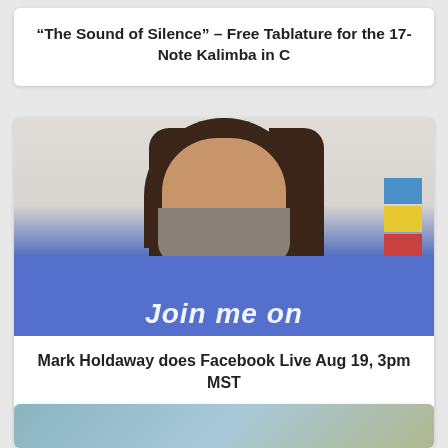“The Sound of Silence” – Free Tablature for the 17-Note Kalimba in C
[Figure (photo): Photo of Mark Holdaway, a middle-aged man with long dark hair and a beard, smiling, wearing a blue t-shirt with 'Join me on' text visible, with colorful prayer flags in the background]
Mark Holdaway does Facebook Live Aug 19, 3pm MST
[Figure (photo): Partial photo visible at bottom of page, appears to show a kalimba instrument]